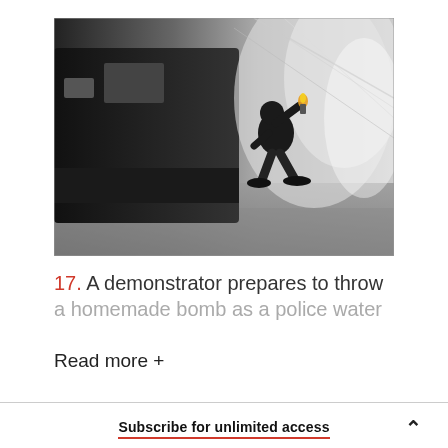[Figure (photo): Black and white photograph of a demonstrator crouching and preparing to throw a homemade bomb (Molotov cocktail) on a wet street, with a large dark vehicle and water spray visible in the background.]
17. A demonstrator prepares to throw a homemade bomb as a police water
Read more +
Subscribe for unlimited access